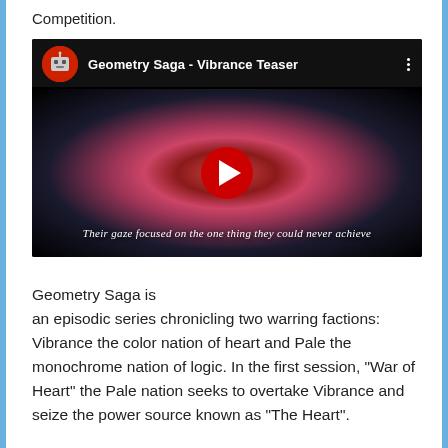Competition.
[Figure (screenshot): YouTube-style embedded video thumbnail for 'Geometry Saga - Vibrance Teaser'. Shows a robot avatar icon in a red circle on the left, video title text on the right, a three-dot menu icon. The video frame shows a dark cosmic/nebula background with a large red play button in the center. Subtitle text at bottom reads: 'Their gaze focused on the one thing they could never achieve'.]
Geometry Saga is an episodic series chronicling two warring factions: Vibrance the color nation of heart and Pale the monochrome nation of logic. In the first session, “War of Heart” the Pale nation seeks to overtake Vibrance and seize the power source known as “The Heart”.